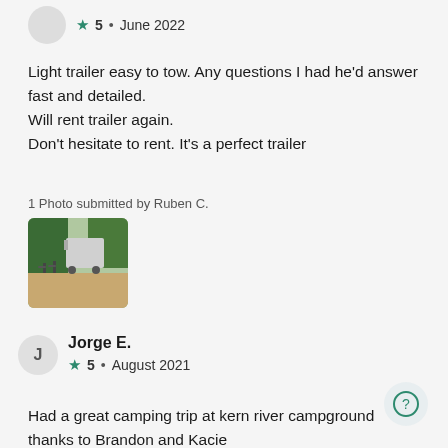[Figure (other): User avatar circle with initial R, partially visible at top]
★5 • June 2022
Light trailer easy to tow. Any questions I had he'd answer fast and detailed.
Will rent trailer again.
Don't hesitate to rent. It's a perfect trailer
1 Photo submitted by Ruben C.
[Figure (photo): Outdoor camping scene with a trailer, trees, and people with bicycles on a dirt area]
Jorge E.
★5 • August 2021
Had a great camping trip at kern river campground thanks to Brandon and Kacie